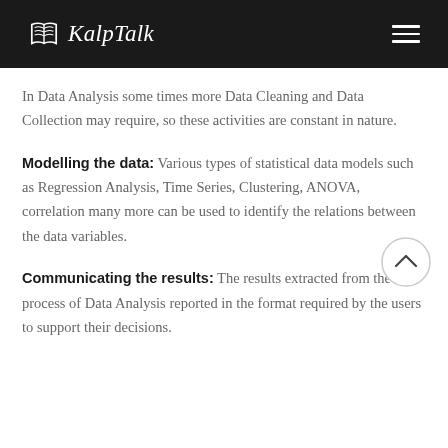KalpTalk
In Data Analysis some times more Data Cleaning and Data Collection may require, so these activities are constant in nature.
Modelling the data: Various types of statistical data models such as Regression Analysis, Time Series, Clustering, ANOVA, correlation many more can be used to identify the relations between the data variables.
Communicating the results: The results extracted from the process of Data Analysis reported in the format required by the users to support their decisions.